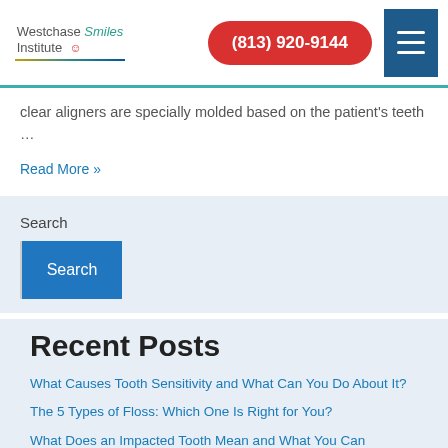Westchase Smiles Institute | (813) 920-9144
clear aligners are specially molded based on the patient's teeth …
Read More »
Search
Recent Posts
What Causes Tooth Sensitivity and What Can You Do About It?
The 5 Types of Floss: Which One Is Right for You?
What Does an Impacted Tooth Mean and What You Can